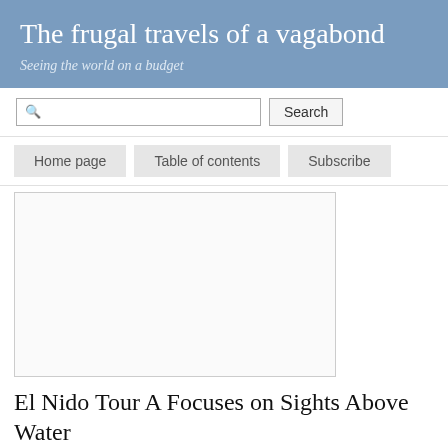The frugal travels of a vagabond
Seeing the world on a budget
[Figure (screenshot): Search bar with magnifying glass icon and Search button]
Home page   Table of contents   Subscribe
[Figure (photo): Large white/blank image placeholder area]
El Nido Tour A Focuses on Sights Above Water